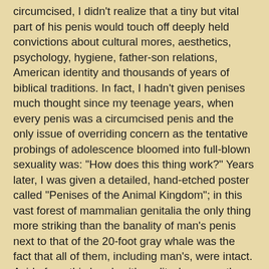circumcised, I didn't realize that a tiny but vital part of his penis would touch off deeply held convictions about cultural mores, aesthetics, psychology, hygiene, father-son relations, American identity and thousands of years of biblical traditions. In fact, I hadn't given penises much thought since my teenage years, when every penis was a circumcised penis and the only issue of overriding concern as the tentative probings of adolescence bloomed into full-blown sexuality was: "How does this thing work?" Years later, I was given a detailed, hand-etched poster called "Penises of the Animal Kingdom"; in this vast forest of mammalian genitalia the only thing more striking than the banality of man's penis next to that of the 20-foot gray whale was the fact that all of them, including man's, were intact. Aside from this brush with reality, however, the mushroom leitmotif of the circumcised penis remained the unequivocal, unquestioned status quo of my youth and of all my peers. It was the uncircumcised penis, with its strange fleshy retractability, that was somehow freakish, a slightly vestigial aberration, like being born with a tail or a set of gills.
Years of living in Europe and being married to a French